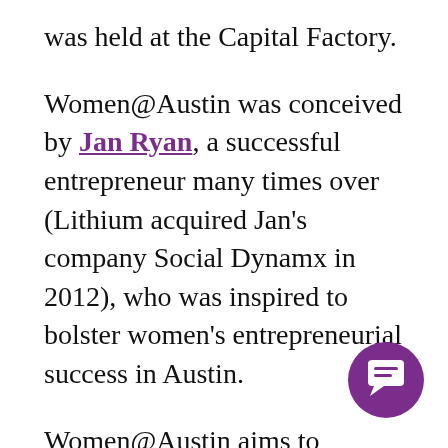was held at the Capital Factory.
Women@Austin was conceived by Jan Ryan, a successful entrepreneur many times over (Lithium acquired Jan's company Social Dynamx in 2012), who was inspired to bolster women's entrepreneurial success in Austin.
Women@Austin aims to increase women's success in the startup ecosystem by enabling:
a forum for building and strengthen...
[Figure (illustration): Purple circular chat/message icon button in the bottom-right corner]